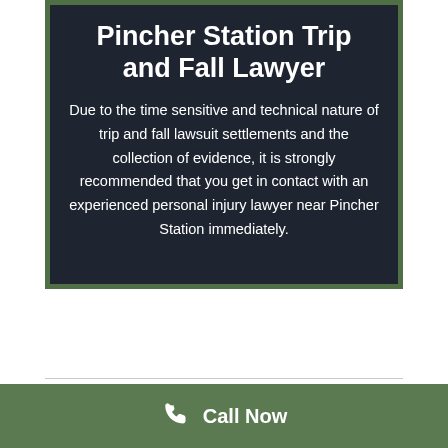Pincher Station Trip and Fall Lawyer
Due to the time sensitive and technical nature of trip and fall lawsuit settlements and the collection of evidence, it is strongly recommended that you get in contact with an experienced personal injury lawyer near Pincher Station immediately.
EXPERIENCED TRIP AND FALL LAWYER IN
Call Now